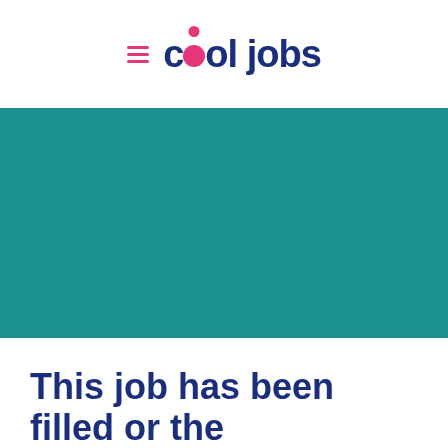cool jobs
[Figure (other): Teal/dark cyan banner image placeholder area]
This job has been filled or the